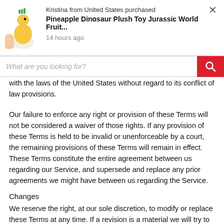[Figure (screenshot): E-commerce notification popup showing a dinosaur plush toy image with text 'Kristina from United States purchased Pineapple Dinosaur Plush Toy Jurassic World Fruit... 14 hours ago' and a close button]
[Figure (screenshot): Search bar with placeholder text 'What are you looking for?' and a red search button]
with the laws of the United States without regard to its conflict of law provisions.
Our failure to enforce any right or provision of these Terms will not be considered a waiver of those rights. If any provision of these Terms is held to be invalid or unenforceable by a court, the remaining provisions of these Terms will remain in effect. These Terms constitute the entire agreement between us regarding our Service, and supersede and replace any prior agreements we might have between us regarding the Service.
Changes
We reserve the right, at our sole discretion, to modify or replace these Terms at any time. If a revision is a material we will try to